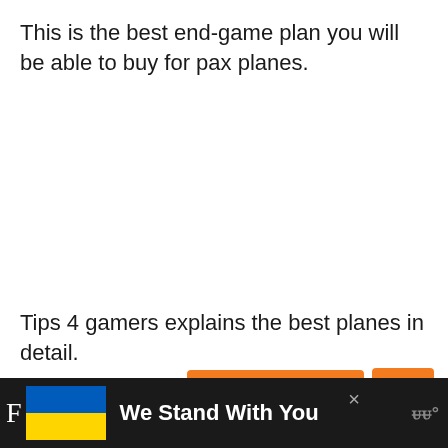This is the best end-game plan you will be able to buy for pax planes.
Tips 4 gamers explains the best planes in detail.
[Figure (other): Two orange buttons: 'KOMMENTAR' with a comment icon, and a thumbs-up icon button]
We Stand With You